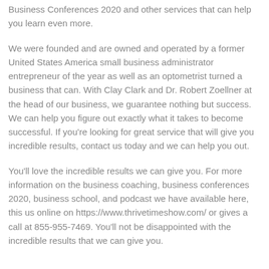Business Conferences 2020 and other services that can help you learn even more.
We were founded and are owned and operated by a former United States America small business administrator entrepreneur of the year as well as an optometrist turned a business that can. With Clay Clark and Dr. Robert Zoellner at the head of our business, we guarantee nothing but success. We can help you figure out exactly what it takes to become successful. If you're looking for great service that will give you incredible results, contact us today and we can help you out.
You'll love the incredible results we can give you. For more information on the business coaching, business conferences 2020, business school, and podcast we have available here, this us online on https://www.thrivetimeshow.com/ or gives a call at 855-955-7469. You'll not be disappointed with the incredible results that we can give you.